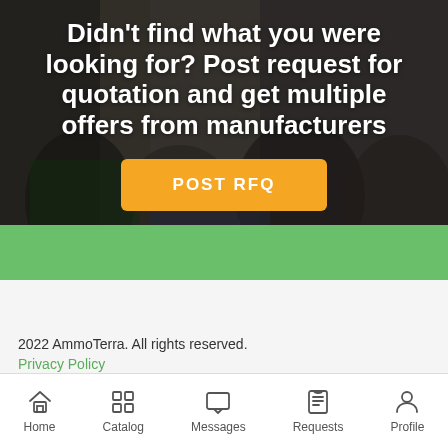[Figure (photo): Background photo of people at a trade show or industry event, with dark overlay]
Didn't find what you were looking for? Post request for quotation and get multiple offers from manufacturers
POST RFQ
2022 AmmoTerra. All rights reserved.
Privacy Policy
Home  Catalog  Messages  Requests  Profile